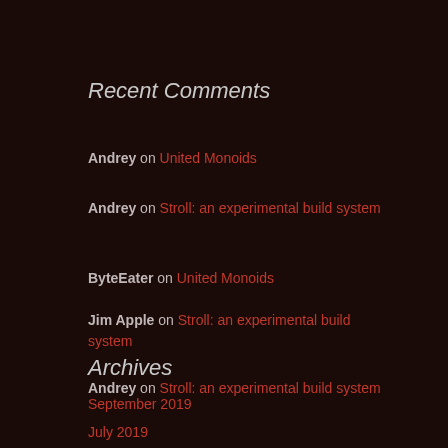Recent Comments
Andrey on United Monoids
Andrey on Stroll: an experimental build system
ByteEater on United Monoids
Jim Apple on Stroll: an experimental build system
Andrey on Stroll: an experimental build system
Archives
September 2019
July 2019